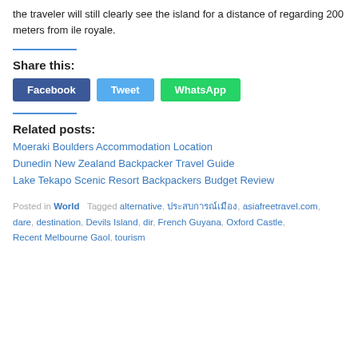the traveler will still clearly see the island for a distance of regarding 200 meters from ile royale.
Share this:
Facebook  Tweet  WhatsApp
Related posts:
Moeraki Boulders Accommodation Location
Dunedin New Zealand Backpacker Travel Guide
Lake Tekapo Scenic Resort Backpackers Budget Review
Posted in World   Tagged alternative, ประสบการณ์เมือง, asiafreetravel.com, dare, destination, Devils Island, dir, French Guyana, Oxford Castle, Recent Melbourne Gaol, tourism